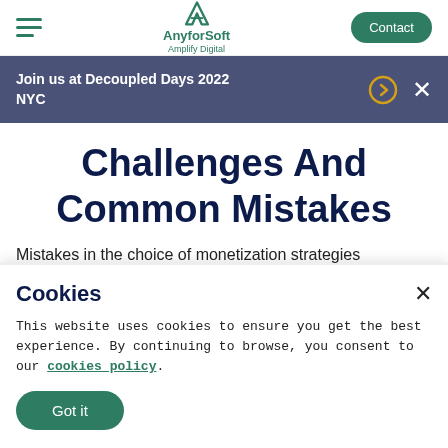AnyforSoft — Amplify Digital | Contact
Join us at Decoupled Days 2022 NYC
Challenges And Common Mistakes
Mistakes in the choice of monetization strategies
Cookies
This website uses cookies to ensure you get the best experience. By continuing to browse, you consent to our cookies policy.
Got it